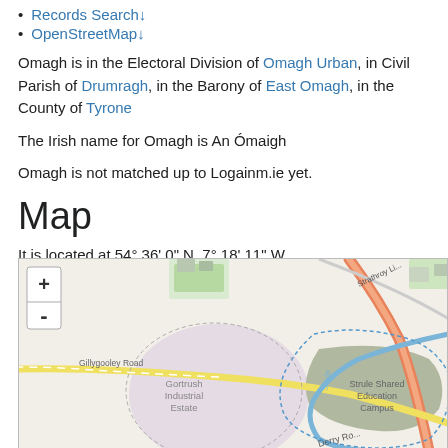Records Search↓
OpenStreetMap↓
Omagh is in the Electoral Division of Omagh Urban, in Civil Parish of Drumragh, in the Barony of East Omagh, in the County of Tyrone
The Irish name for Omagh is An Ómaigh
Omagh is not matched up to Logainm.ie yet.
Map
It is located at 54° 36' 0" N, 7° 18' 11" W.
[Figure (map): OpenStreetMap showing Omagh area including Gortrush Industrial Estate, Strule Shared Education Campus, Gillygooley Road, Derry Road, and Strathroy Link road. Map includes zoom controls (+/-).]